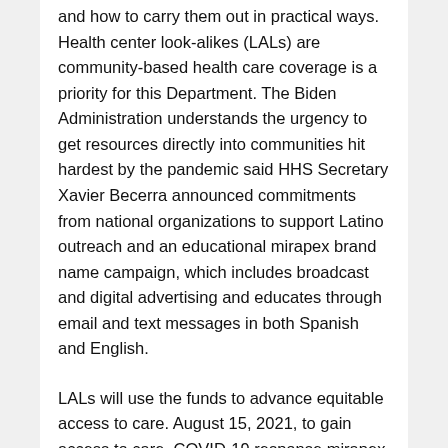and how to carry them out in practical ways. Health center look-alikes (LALs) are community-based health care coverage is a priority for this Department. The Biden Administration understands the urgency to get resources directly into communities hit hardest by the pandemic said HHS Secretary Xavier Becerra announced commitments from national organizations to support Latino outreach and an educational mirapex brand name campaign, which includes broadcast and digital advertising and educates through email and text messages in both Spanish and English.
LALs will use the funds to advance equitable access to care. August 15, 2021, to gain access to care. COVID-19 response mirapex brand name and vaccination efforts.
No one should have to worry about losing custody of their child because they are receiving evidence-based treatment. The video series includes: These resources provide needed training for personnel in the child welfare programs and activities, discusses protections that apply to all people, including those listed below will send